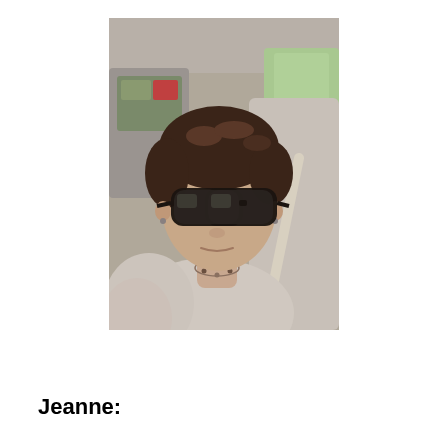[Figure (photo): A woman with short brown hair wearing large dark sunglasses sitting in a car, wearing a light-colored top with a beaded necklace and seatbelt visible.]
Jeanne: